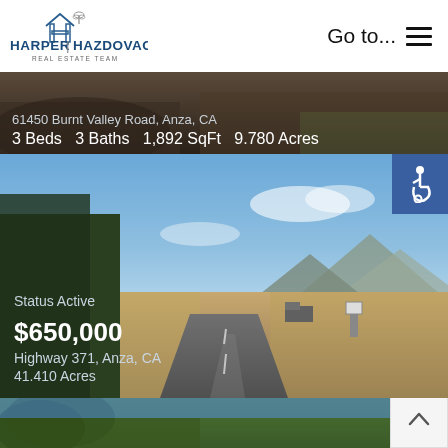Harper | Hazdovac Real Estate Team — Go to... (navigation menu)
[Figure (photo): Partial view of 61450 Burnt Valley Road, Anza, CA listing card showing desert/mountain landscape]
61450 Burnt Valley Road, Anza, CA
3 Beds  3 Baths  1,892 SqFt  9.780 Acres
[Figure (photo): Photo of Highway 371 in Anza, CA showing open road through high desert landscape with mountains in background]
Status Active
$650,000
Highway 371, Anza, CA
41.410 Acres
[Figure (photo): Partial bottom crop of a third property listing photo showing trees against blue sky]